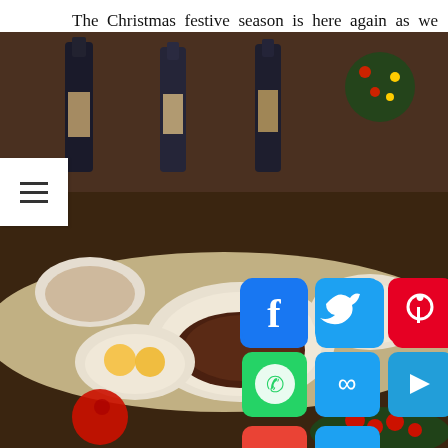The Christmas festive season is here again as we entered into the month of December! This is the time for a festive holiday celebration with Wolfgang's Steakhouse Singapore Christmas Set Menu and Christmas Brunch, inspired by the bright lights of New York City, where the concept was founded.
[Figure (photo): A festive Christmas dining spread at Wolfgang's Steakhouse Singapore, showing plates of steak, eggs benedict, pasta, and various dishes on a table with wine bottles and Christmas decorations. Social media sharing icons overlay the bottom portion of the image.]